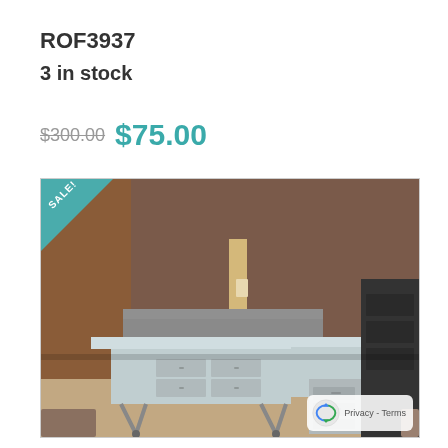ROF3937
3 in stock
$300.00 $75.00
[Figure (photo): Office furniture showroom photo showing a light gray L-shaped desk with metal legs on casters, a smaller gray desk behind it, and a black filing cabinet to the right, against a brown wall. A teal 'SALE!' triangle badge is in the top-left corner of the photo.]